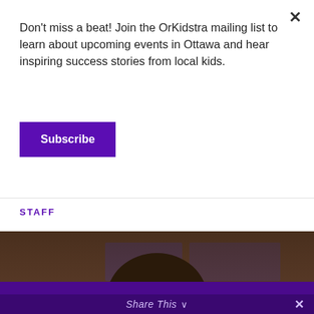Don't miss a beat! Join the OrKidstra mailing list to learn about upcoming events in Ottawa and hear inspiring success stories from local kids.
Subscribe
STAFF
[Figure (photo): A smiling woman with dark brown chin-length hair and bangs, wearing earrings, photographed against a blurred background. Image is part of a slideshow (1/10) with navigation arrows.]
Watch highlights from “OrKidstra: LIVE in Concert!” recorded on June 1, 2022!
Share This